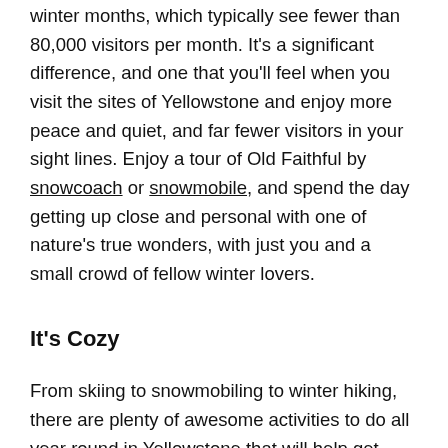winter months, which typically see fewer than 80,000 visitors per month. It's a significant difference, and one that you'll feel when you visit the sites of Yellowstone and enjoy more peace and quiet, and far fewer visitors in your sight lines. Enjoy a tour of Old Faithful by snowcoach or snowmobile, and spend the day getting up close and personal with one of nature's true wonders, with just you and a small crowd of fellow winter lovers.
It's Cozy
From skiing to snowmobiling to winter hiking, there are plenty of awesome activities to do all year round in Yellowstone that will help get your blood pumping. Once the thrill of your day winds down, there's truly nothing better than returning to a cozy cabin or lodge to warm up by a fireplace.
It's Worth Taking Seriously!